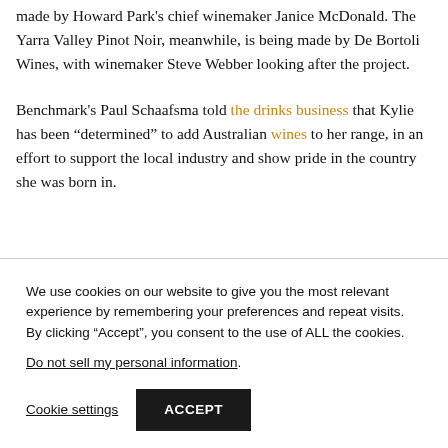made by Howard Park's chief winemaker Janice McDonald. The Yarra Valley Pinot Noir, meanwhile, is being made by De Bortoli Wines, with winemaker Steve Webber looking after the project.
Benchmark's Paul Schaafsma told the drinks business that Kylie has been “determined” to add Australian wines to her range, in an effort to support the local industry and show pride in the country she was born in.
We use cookies on our website to give you the most relevant experience by remembering your preferences and repeat visits. By clicking “Accept”, you consent to the use of ALL the cookies.
Do not sell my personal information.
Cookie settings | ACCEPT